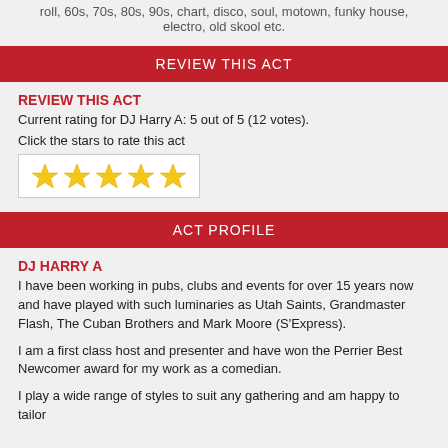roll, 60s, 70s, 80s, 90s, chart, disco, soul, motown, funky house, electro, old skool etc.
REVIEW THIS ACT
REVIEW THIS ACT
Current rating for DJ Harry A: 5 out of 5 (12 votes).
Click the stars to rate this act
[Figure (other): Five gold star rating widget in a bordered box]
ACT PROFILE
DJ HARRY A
I have been working in pubs, clubs and events for over 15 years now and have played with such luminaries as Utah Saints, Grandmaster Flash, The Cuban Brothers and Mark Moore (S'Express).
I am a first class host and presenter and have won the Perrier Best Newcomer award for my work as a comedian.
I play a wide range of styles to suit any gathering and am happy to tailor